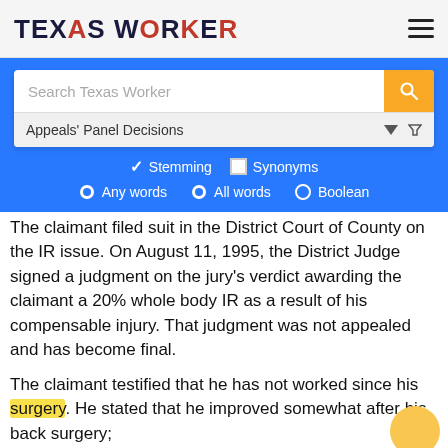TEXAS WORKER
[Figure (screenshot): Search interface with search bar showing 'Search Texas Worker', a dropdown for 'Appeals' Panel Decisions', options for Stemming and Synonyms, and radio buttons for Any words, All words, Boolean]
The claimant filed suit in the District Court of County on the IR issue. On August 11, 1995, the District Judge signed a judgment on the jury's verdict awarding the claimant a 20% whole body IR as a result of his compensable injury. That judgment was not appealed and has become final.
The claimant testified that he has not worked since his surgery. He stated that he improved somewhat after his back surgery;